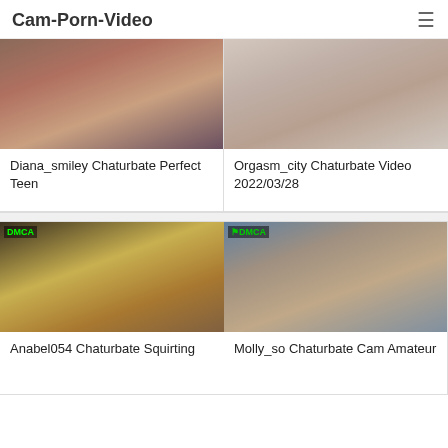Cam-Porn-Video
[Figure (photo): Thumbnail image for Diana_smiley Chaturbate Perfect Teen]
[Figure (photo): Thumbnail image for Orgasm_city Chaturbate Video 2022/03/28]
Diana_smiley Chaturbate Perfect Teen
Orgasm_city Chaturbate Video 2022/03/28
[Figure (photo): Thumbnail image for Anabel054 Chaturbate Squirting]
[Figure (photo): Thumbnail image for Molly_so Chaturbate Cam Amateur]
Anabel054 Chaturbate Squirting
Molly_so Chaturbate Cam Amateur